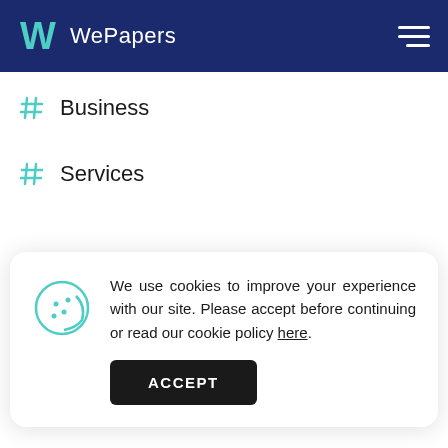WePapers
# Business
# Services
We use cookies to improve your experience with our site. Please accept before continuing or read our cookie policy here.
# Employment
# Development